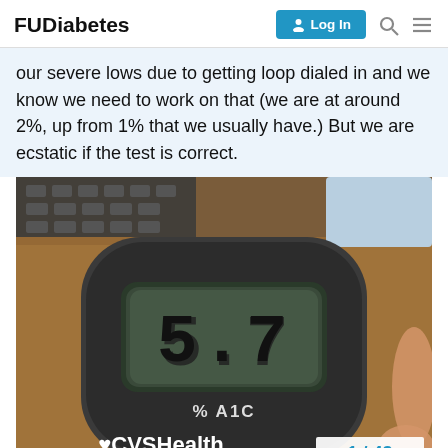FUDiabetes  Log In
our severe lows due to getting loop dialed in and we know we need to work on that (we are at around 2%, up from 1% that we usually have.) But we are ecstatic if the test is correct.
[Figure (photo): A CVS Health A1C home testing device displaying 5.7 % A1C on its digital screen, held in someone's hand against a wooden desk background.]